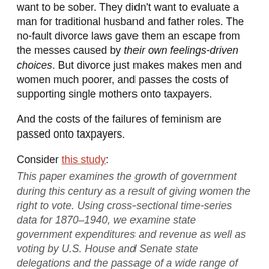want to be sober. They didn't want to evaluate a man for traditional husband and father roles. The no-fault divorce laws gave them an escape from the messes caused by their own feelings-driven choices. But divorce just makes makes men and women much poorer, and passes the costs of supporting single mothers onto taxpayers.
And the costs of the failures of feminism are passed onto taxpayers.
Consider this study:
This paper examines the growth of government during this century as a result of giving women the right to vote. Using cross-sectional time-series data for 1870–1940, we examine state government expenditures and revenue as well as voting by U.S. House and Senate state delegations and the passage of a wide range of different state laws.